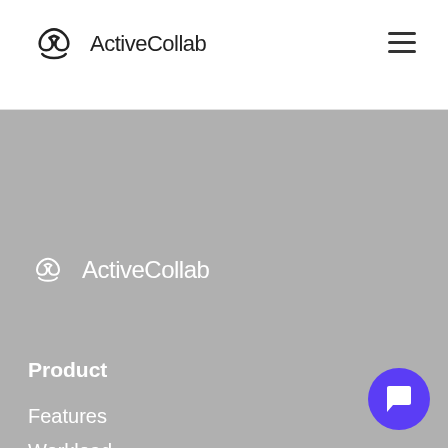ActiveCollab
[Figure (logo): ActiveCollab logo in white on gray panel background]
Product
Features
Workload
Time Management
Pricing
Teams
Apps & Downloads
Add-ons